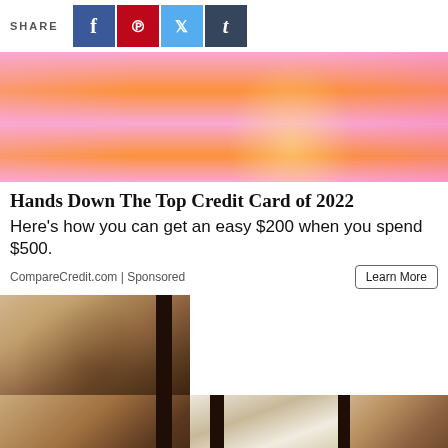SHARE
[Figure (screenshot): Social share buttons for Facebook (blue), Pinterest (red), Twitter (light blue), Tumblr (dark blue)]
[Figure (photo): Woman in orange and pink striped top holding a credit card near her face, pink background]
Hands Down The Top Credit Card of 2022
Here's how you can get an easy $200 when you spend $500.
CompareCredit.com | Sponsored
Learn More
[Figure (photo): Stucco or textured wall with dark door frame elements, brownish-tan color tones]